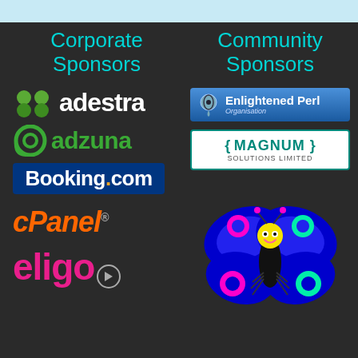Corporate Sponsors
[Figure (logo): adestra logo with green dots and white text]
[Figure (logo): adzuna logo with green swirl and green text]
[Figure (logo): Booking.com logo on dark blue background]
[Figure (logo): cPanel logo in orange italic text]
[Figure (logo): eligo logo in pink text]
Community Sponsors
[Figure (logo): Enlightened Perl Organisation logo on blue gradient]
[Figure (logo): Magnum Solutions Limited logo on white with teal border]
[Figure (illustration): Colorful cartoon bee/butterfly mascot with neon colors on dark background]